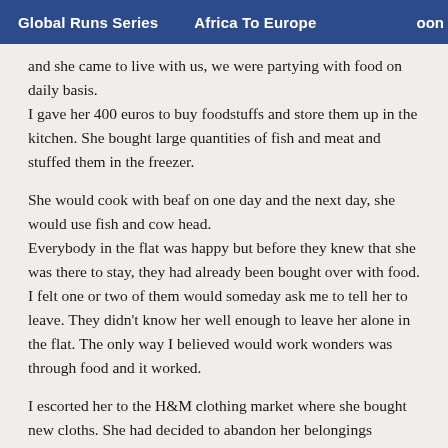Global Runs Series   Africa To Europe   oon
and she came to live with us, we were partying with food on daily basis.
I gave her 400 euros to buy foodstuffs and store them up in the kitchen. She bought large quantities of fish and meat and stuffed them in the freezer.
She would cook with beaf on one day and the next day, she would use fish and cow head.
Everybody in the flat was happy but before they knew that she was there to stay, they had already been bought over with food. I felt one or two of them would someday ask me to tell her to leave. They didn't know her well enough to leave her alone in the flat. The only way I believed would work wonders was through food and it worked.
I escorted her to the H&M clothing market where she bought new cloths. She had decided to abandon her belongings wherever she kept them. She had come with some money, I